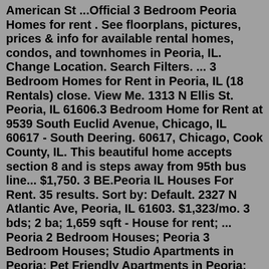American St ...Official 3 Bedroom Peoria Homes for rent . See floorplans, pictures, prices & info for available rental homes, condos, and townhomes in Peoria, IL. Change Location. Search Filters. ... 3 Bedroom Homes for Rent in Peoria, IL (18 Rentals) close. View Me. 1313 N Ellis St. Peoria, IL 61606.3 Bedroom Home for Rent at 9539 South Euclid Avenue, Chicago, IL 60617 - South Deering. 60617, Chicago, Cook County, IL. This beautiful home accepts section 8 and is steps away from 95th bus line... $1,750. 3 BE.Peoria IL Houses For Rent. 35 results. Sort by: Default. 2327 N Atlantic Ave, Peoria, IL 61603. $1,323/mo. 3 bds; 2 ba; 1,659 sqft - House for rent; ... Peoria 2 Bedroom Houses; Peoria 3 Bedroom Houses; Studio Apartments in Peoria; Pet Friendly Apartments in Peoria; Luxury Apartments in Peoria; Cheap Apartments in Peoria;As of July 2022, the average apartment rent in Chicago, IL is $1,791 for a studio, $1,645 for one bedroom, $2,317 for two bedrooms, and $3,845 for three bedrooms. Apartment rent in Chicago has increased by 3.7% in